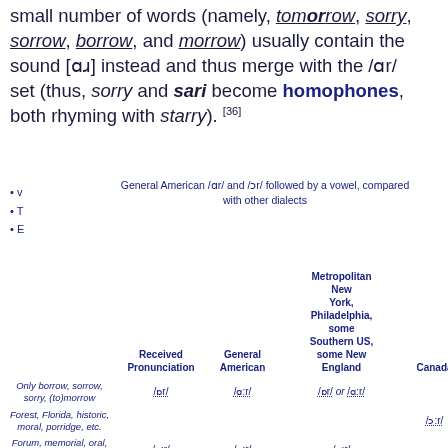of /ɒr/ (horse, hoarse), but in the US, a small number of words (namely, tomorrow, sorry, sorrow, borrow, and morrow) usually contain the sound [ɑɹ] instead and thus merge with the /ɑr/ set (thus, sorry and sari become homophones, both rhyming with starry). [36]
General American /ɑr/ and /ɔr/ followed by a vowel, compared with other dialects
v
T
E
|  | Received Pronunciation | General American | Metropolitan New York, Philadelphia, some Southern US, some New England | Canada |
| --- | --- | --- | --- | --- |
| Only borrow, sorrow, sorry, (to)morrow | /ɒr/ | /ɑ:r/
/ɒr/ or /ɑ:r/ |  |  |
| Forest, Florida, historic, moral, porridge, etc. |  |  |  | /ɔ:r/ |
| Forum, memorial, oral, storage, story, etc. | /ɔ:r/ | /ɔ:r/ | /ɔ:r/ |  |